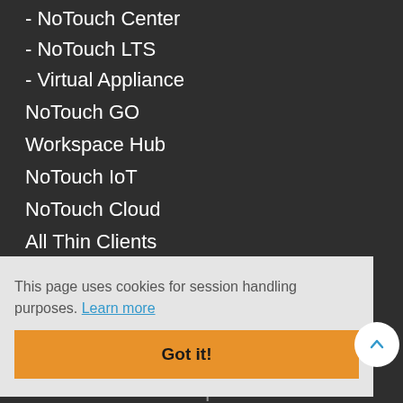- NoTouch Center
- NoTouch LTS
- Virtual Appliance
NoTouch GO
Workspace Hub
NoTouch IoT
NoTouch Cloud
All Thin Clients
SOLUTIONS
Normal Stack
Citrix
VMware Horizon
Azure Virtual Desktop
Nutanix Frame
This page uses cookies for session handling purposes. Learn more
Got it!